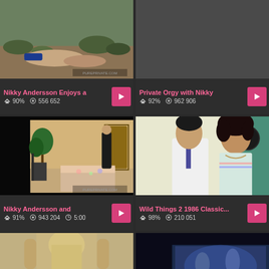[Figure (screenshot): Thumbnail of outdoor scene with people on ground, desert/scrubby landscape background]
Nikky Andersson Enjoys a
90%  556 652
[Figure (screenshot): Gray/blank thumbnail placeholder]
Private Orgy with Nikky
92%  962 906
[Figure (screenshot): Indoor room scene with person standing near doorway, bed visible, houseplant]
Nikky Andersson and
91%  943 204  5:00
[Figure (screenshot): Two people face to face, man in white lab coat and woman with dark curly hair]
Wild Things 2 1986 Classic...
98%  210 051
[Figure (screenshot): Partial thumbnail showing blonde person from behind]
[Figure (screenshot): Partial thumbnail with blue-lit scene]